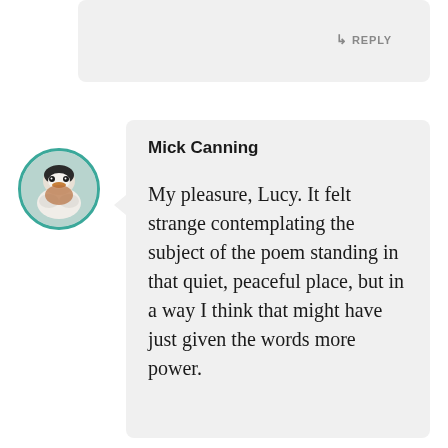[Figure (screenshot): Partial top comment bubble with REPLY button visible]
[Figure (photo): Circular avatar image of a bird (goose or duck) with teal border]
Mick Canning
My pleasure, Lucy. It felt strange contemplating the subject of the poem standing in that quiet, peaceful place, but in a way I think that might have just given the words more power.